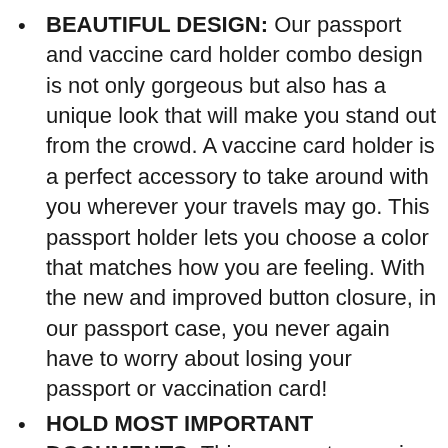BEAUTIFUL DESIGN: Our passport and vaccine card holder combo design is not only gorgeous but also has a unique look that will make you stand out from the crowd. A vaccine card holder is a perfect accessory to take around with you wherever your travels may go. This passport holder lets you choose a color that matches how you are feeling. With the new and improved button closure, in our passport case, you never again have to worry about losing your passport or vaccination card!
HOLD MOST IMPORTANT DOCUMENTS: This passport cover is a great way to keep all of your important documents